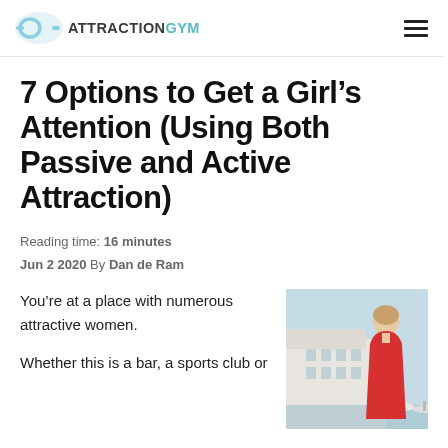ATTRACTIONGYM
7 Options to Get a Girl's Attention (Using Both Passive and Active Attraction)
Reading time: 16 minutes
Jun 2 2020 By Dan de Ram
You're at a place with numerous attractive women.

Whether this is a bar, a sports club or
[Figure (photo): Photo of a young woman in a red dress smiling outdoors near a harbor with boats and white buildings in background]